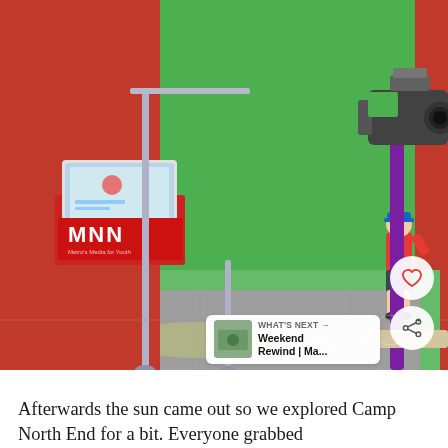[Figure (photo): A child in an orange shirt and dark shorts stands on a green screen set at what appears to be a children's museum studio (Camp North End). An MNN (Metro's Media for Youth) sign and monitor are visible on the left. A professional TV camera on a purple stand is on the right. The floor and background wall are bright green.]
Afterwards the sun came out so we explored Camp North End for a bit. Everyone grabbed